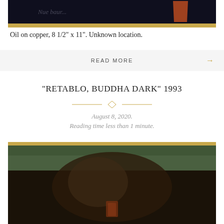[Figure (photo): Top portion of a dark painting on copper, showing a dark background with an orange/red triangular shape on the right side and a gold frame border at the bottom]
Oil on copper, 8 1/2" x 11". Unknown location.
READ MORE →
“RETABLO, BUDDHA DARK” 1993
August 8, 2020.
Reading time less than 1 minute.
[Figure (photo): Bottom portion of a dark painting showing a dark mass/figure against a dark green and brown background with a gold frame border at top, and a small reddish-orange symbol visible in the center-bottom area]